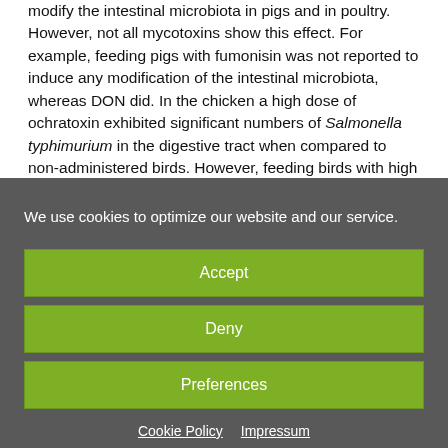modify the intestinal microbiota in pigs and in poultry. However, not all mycotoxins show this effect. For example, feeding pigs with fumonisin was not reported to induce any modification of the intestinal microbiota, whereas DON did. In the chicken a high dose of ochratoxin exhibited significant numbers of Salmonella typhimurium in the digestive tract when compared to non-administered birds. However, feeding birds with high levels of aflatoxin or T-2 toxin had no effect on
We use cookies to optimize our website and our service.
Accept
Deny
Preferences
Cookie Policy
Impressum